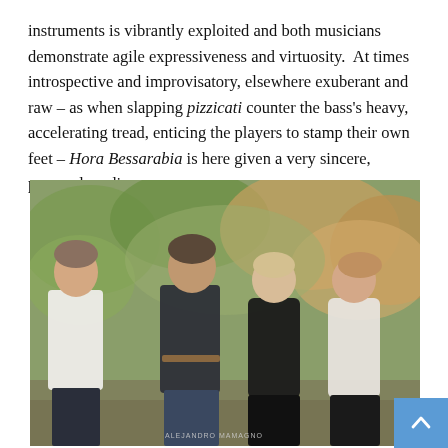instruments is vibrantly exploited and both musicians demonstrate agile expressiveness and virtuosity.  At times introspective and improvisatory, elsewhere exuberant and raw – as when slapping pizzicati counter the bass's heavy, accelerating tread, enticing the players to stamp their own feet – Hora Bessarabia is here given a very sincere, personal reading.
[Figure (photo): Group photo of four musicians standing outdoors in a park setting with autumn foliage in the background. From left to right: a man in a white shirt, a man in a dark shirt, a woman in a black dress, and a woman in a white sleeveless top. A watermark reading 'ALEJANDRO MAMAGNO' appears at the bottom.]